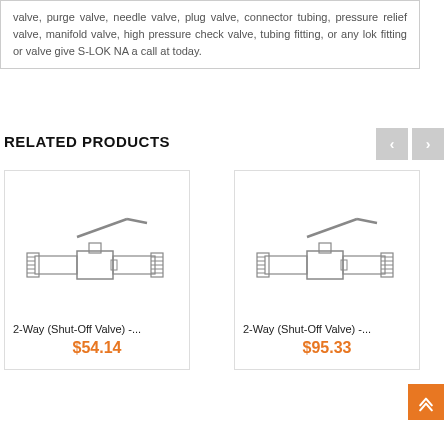valve, purge valve, needle valve, plug valve, connector tubing, pressure relief valve, manifold valve, high pressure check valve, tubing fitting, or any lok fitting or valve give S-LOK NA a call at today.
RELATED PRODUCTS
[Figure (illustration): Technical line drawing of a 2-Way Shut-Off Ball Valve with lever handle, showing tube fittings on both sides]
2-Way (Shut-Off Valve) -...
$54.14
[Figure (illustration): Technical line drawing of a 2-Way Shut-Off Ball Valve with lever handle, showing tube fittings on both sides]
2-Way (Shut-Off Valve) -...
$95.33